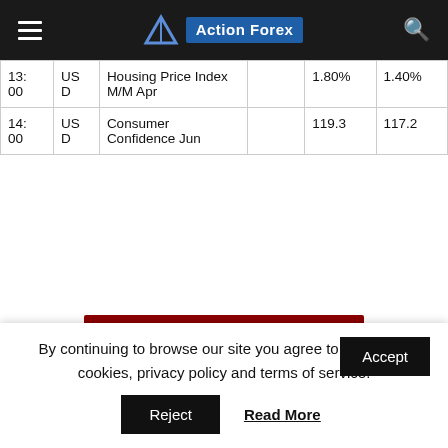Action Forex
| Time | Currency | Event |  | Forecast | Previous |
| --- | --- | --- | --- | --- | --- |
| 13:00 | USD | Housing Price Index M/M Apr |  | 1.80% | 1.40% |
| 14:00 | USD | Consumer Confidence Jun |  | 119.3 | 117.2 |
Stay udpated with our FREE Forex Newsletters
Download our Free Forex Ebook Collection
By continuing to browse our site you agree to our use of cookies, privacy policy and terms of service.